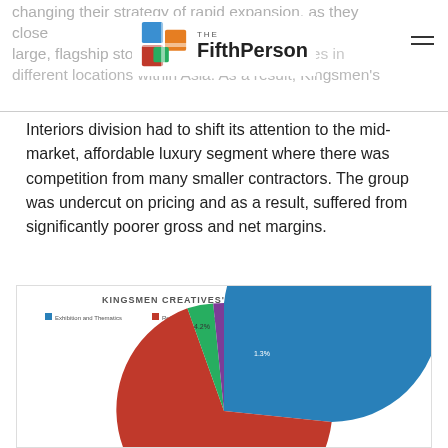changing their strategy of rapid expansion, as they close large, flagship stores and open multiple stores in different locations within Asia. As a result, Kingsmen's
Interiors division had to shift its attention to the mid-market, affordable luxury segment where there was competition from many smaller contractors. The group was undercut on pricing and as a result, suffered from significantly poorer gross and net margins.
As Retail and Corporate Interiors division takes up nearly 46% of total revenue, this has had an adverse impact on the company's profitability.
[Figure (pie-chart): Pie chart showing Kingsmen Creatives 1H 2019 revenue mix. Slices: Exhibition and Thematics (blue, large), Retail and Corporate Interiors (red/brown, large), Research and Design (green, small 4.2%), Alternative Marketing (purple, small 1.3%). Bottom of chart is cut off.]